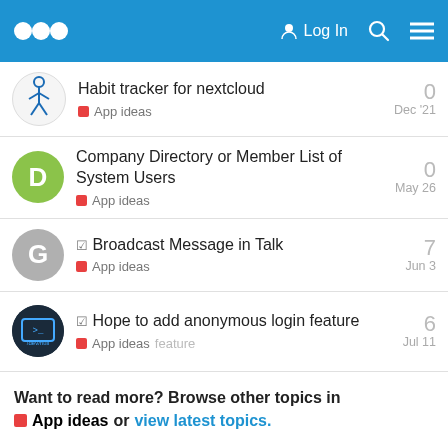Nextcloud Community — Log In
Habit tracker for nextcloud — App ideas — Dec '21 — 0 replies
Company Directory or Member List of System Users — App ideas — May 26 — 0 replies
Broadcast Message in Talk — App ideas — Jun 3 — 7 replies
Hope to add anonymous login feature — App ideas — feature — Jul 11 — 6 replies
Want to read more? Browse other topics in App ideas or view latest topics.